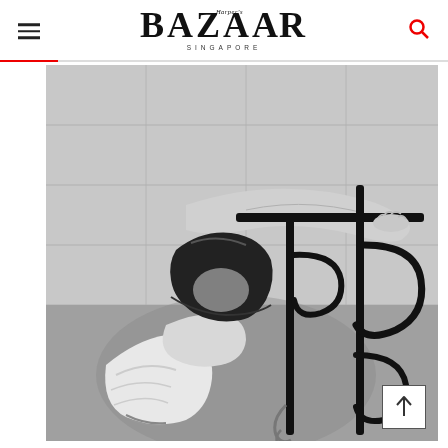Harper's BAZAAR SINGAPORE
[Figure (photo): Black and white fashion photograph of a woman with a short dark bob haircut, wearing a ruffled off-shoulder top, draped dramatically over an ornate wrought-iron railing or chair with scrollwork, against a tiled wall background.]